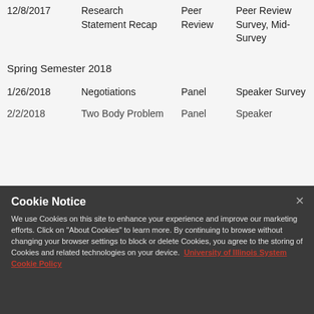| Date | Topic | Format | Assessment |
| --- | --- | --- | --- |
| 12/8/2017 | Research Statement Recap | Peer Review | Peer Review Survey, Mid-Survey |
| Spring Semester 2018 |  |  |  |
| 1/26/2018 | Negotiations | Panel | Speaker Survey |
| 2/2/2018 | Two Body Problem | Panel | Speaker... |
Cookie Notice

We use Cookies on this site to enhance your experience and improve our marketing efforts. Click on "About Cookies" to learn more. By continuing to browse without changing your browser settings to block or delete Cookies, you agree to the storing of Cookies and related technologies on your device. University of Illinois System Cookie Policy